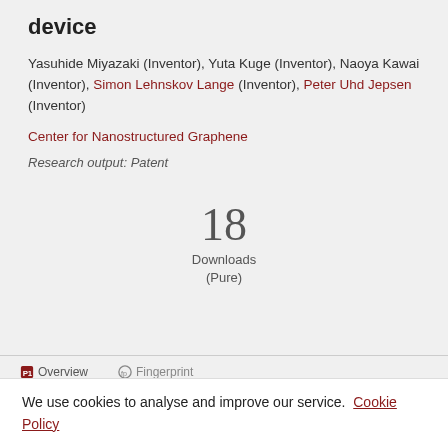device
Yasuhide Miyazaki (Inventor), Yuta Kuge (Inventor), Naoya Kawai (Inventor), Simon Lehnskov Lange (Inventor), Peter Uhd Jepsen (Inventor)
Center for Nanostructured Graphene
Research output: Patent
18
Downloads
(Pure)
We use cookies to analyse and improve our service. Cookie Policy